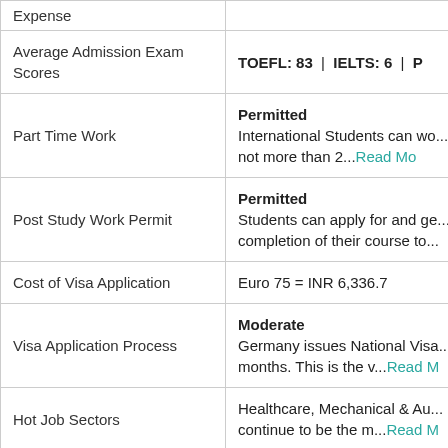| Category | Details |
| --- | --- |
| Expense |  |
| Average Admission Exam Scores | TOEFL: 83  |  IELTS: 6  |  P... |
| Part Time Work | Permitted
International Students can wo... for not more than 2...Read Mo... |
| Post Study Work Permit | Permitted
Students can apply for and ge... completion of their course to... |
| Cost of Visa Application | Euro 75 = INR 6,336.7 |
| Visa Application Process | Moderate
Germany issues National Visa... months. This is the v...Read M... |
| Hot Job Sectors | Healthcare, Mechanical & Au... continue to be the m...Read M... |
| Economy Growth Rate | The German economy has be... 2021 - as reported in a ...Rea... |